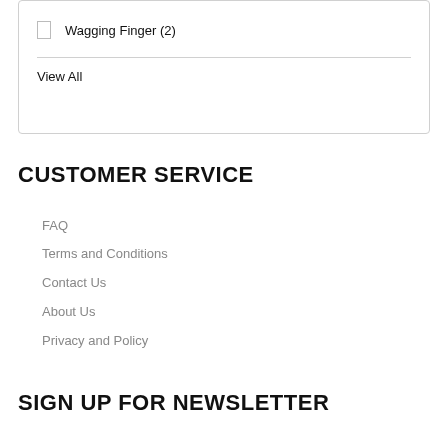Wagging Finger (2)
View All
CUSTOMER SERVICE
FAQ
Terms and Conditions
Contact Us
About Us
Privacy and Policy
SIGN UP FOR NEWSLETTER